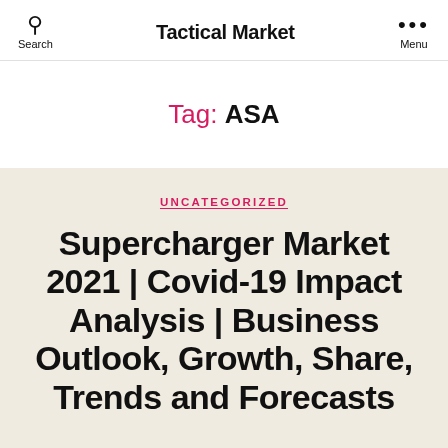Tactical Market
Tag: ASA
UNCATEGORIZED
Supercharger Market 2021 | Covid-19 Impact Analysis | Business Outlook, Growth, Share, Trends and Forecasts